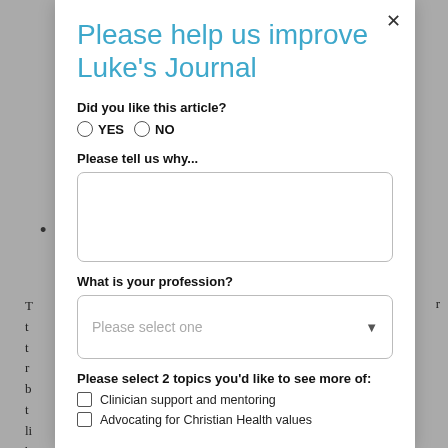Please help us improve Luke's Journal
Did you like this article?
YES   NO
Please tell us why...
What is your profession?
Please select one
Please select 2 topics you'd like to see more of:
Clinician support and mentoring
Advocating for Christian Health values